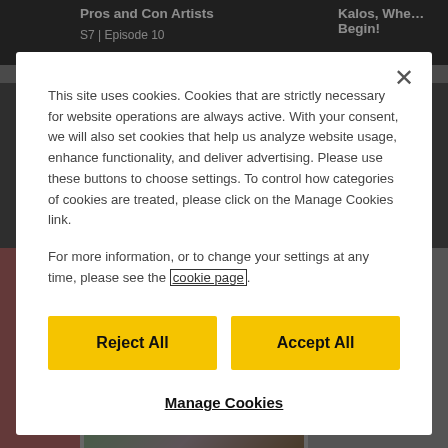[Figure (screenshot): Background of a Pokemon website showing episode thumbnails including 'Pros and Con Artists' and 'Kalos, Whe… Begin!' with Pokemon card images below]
This site uses cookies. Cookies that are strictly necessary for website operations are always active. With your consent, we will also set cookies that help us analyze website usage, enhance functionality, and deliver advertising. Please use these buttons to choose settings. To control how categories of cookies are treated, please click on the Manage Cookies link.
For more information, or to change your settings at any time, please see the cookie page.
Reject All
Accept All
Manage Cookies